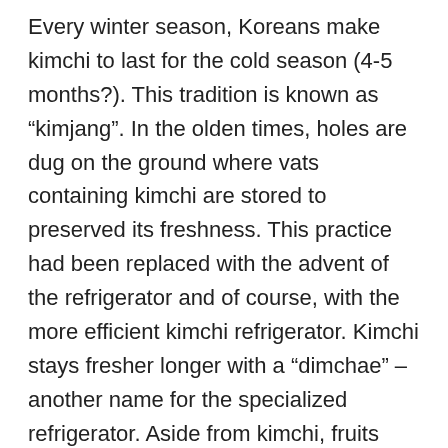Every winter season, Koreans make kimchi to last for the cold season (4-5 months?). This tradition is known as "kimjang". In the olden times, holes are dug on the ground where vats containing kimchi are stored to preserved its freshness. This practice had been replaced with the advent of the refrigerator and of course, with the more efficient kimchi refrigerator. Kimchi stays fresher longer with a "dimchae" – another name for the specialized refrigerator. Aside from kimchi, fruits and vegetables also stay fresher inside the kimchi fridge.
[Figure (photo): Small broken/placeholder image icon for kimchi refrigerator photo]
kimchi refrigerator
Having a kimchi fridge wasn't our idea. It was my parents-in-law's and they are the ones who bought it for us as a gift. It has been two years since we cancelled their first order of the fridge since we didn't think we needed it